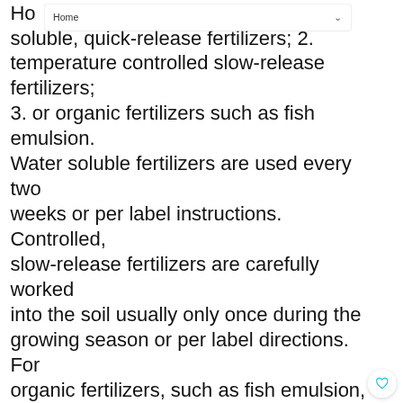[Figure (screenshot): A dropdown navigation bar showing 'Home' with a chevron/arrow icon]
soluble, quick-release fertilizers; 2. temperature controlled slow-release fertilizers; 3. or organic fertilizers such as fish emulsion. Water soluble fertilizers are used every two weeks or per label instructions. Controlled, slow-release fertilizers are carefully worked into the soil usually only once during the growing season or per label directions. For organic fertilizers, such as fish emulsion, follow label directions. Allow houseplants to 'rest' during the winter months; stop fertilizing in late October and resume feeding in late February
Light